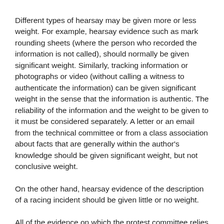Different types of hearsay may be given more or less weight. For example, hearsay evidence such as mark rounding sheets (where the person who recorded the information is not called), should normally be given significant weight. Similarly, tracking information or photographs or video (without calling a witness to authenticate the information) can be given significant weight in the sense that the information is authentic. The reliability of the information and the weight to be given to it must be considered separately. A letter or an email from the technical committee or from a class association about facts that are generally within the author's knowledge should be given significant weight, but not conclusive weight.
On the other hand, hearsay evidence of the description of a racing incident should be given little or no weight.
All of the evidence on which the protest committee relies must be shared with the parties. It must also be subject to questioning by the parties and the protest committee. If necessary the protest committee must reconvene or reopen a hearing to achieve this.